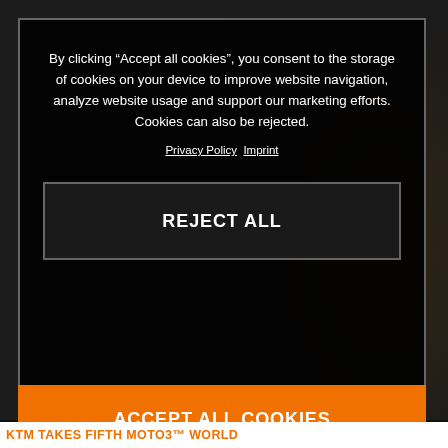[Figure (screenshot): Cookie consent modal overlay on a dark motorcycle racing website. The modal contains cookie consent text, Privacy Policy and Imprint links, a 'REJECT ALL' button with dark background and border, and an 'ACCEPT ALL COOKIES' button with orange background. Below the modal, a partial headline reads 'KTM TAKES FIFTH MOTO3™ WORLD' in orange text on white.]
By clicking “Accept all cookies”, you consent to the storage of cookies on your device to improve website navigation, analyze website usage and support our marketing efforts. Cookies can also be rejected.
Privacy Policy  Imprint
REJECT ALL
ACCEPT ALL COOKIES
KTM TAKES FIFTH MOTO3™ WORLD